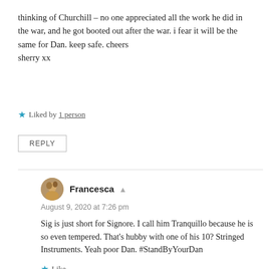thinking of Churchill – no one appreciated all the work he did in the war, and he got booted out after the war. i fear it will be the same for Dan. keep safe. cheers
sherry xx
Liked by 1 person
REPLY
Francesca
August 9, 2020 at 7:26 pm
Sig is just short for Signore. I call him Tranquillo because he is so even tempered. That’s hubby with one of his 10? Stringed Instruments. Yeah poor Dan. #StandByYourDan
Like